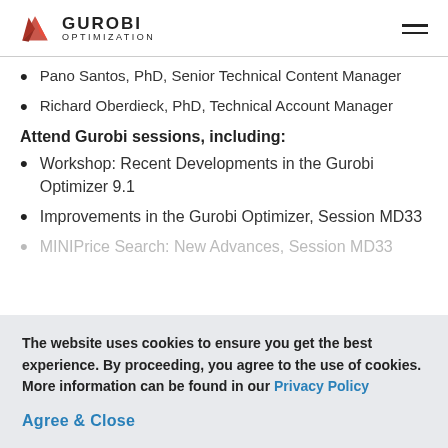GUROBI OPTIMIZATION
Pano Santos, PhD, Senior Technical Content Manager
Richard Oberdieck, PhD, Technical Account Manager
Attend Gurobi sessions, including:
Workshop: Recent Developments in the Gurobi Optimizer 9.1
Improvements in the Gurobi Optimizer, Session MD33
MINIPrice Search: New Advances, Session MD33 (partially visible)
The website uses cookies to ensure you get the best experience. By proceeding, you agree to the use of cookies. More information can be found in our Privacy Policy
Agree & Close